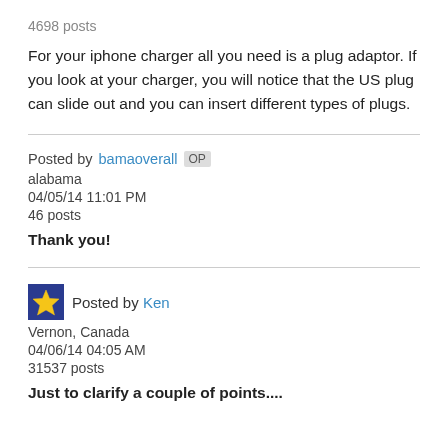4698 posts
For your iphone charger all you need is a plug adaptor. If you look at your charger, you will notice that the US plug can slide out and you can insert different types of plugs.
Posted by bamaoverall OP
alabama
04/05/14 11:01 PM
46 posts
Thank you!
Posted by Ken
Vernon, Canada
04/06/14 04:05 AM
31537 posts
Just to clarify a couple of points....